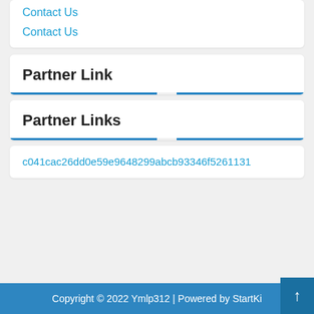Contact Us
Contact Us
Partner Link
Partner Links
c041cac26dd0e59e9648299abcb93346f5261131
Copyright © 2022 Ymlp312 | Powered by StartKit